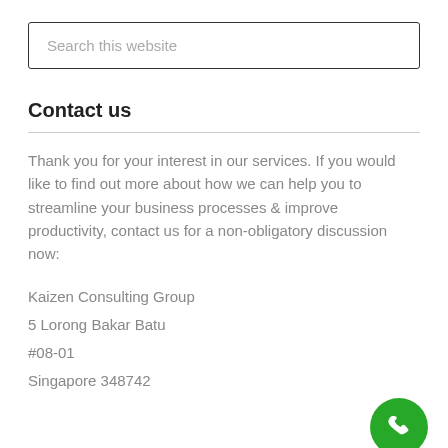[Figure (other): Search this website input field with border]
Contact us
Thank you for your interest in our services. If you would like to find out more about how we can help you to streamline your business processes & improve productivity, contact us for a non-obligatory discussion now:
Kaizen Consulting Group
5 Lorong Bakar Batu
#08-01
Singapore 348742
[Figure (other): Green circular phone call button in bottom right corner]